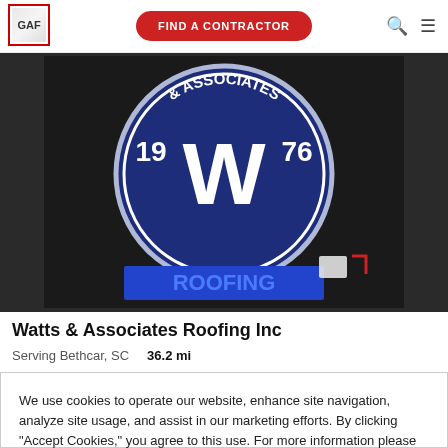[Figure (logo): GAF logo in top left corner with red border]
[Figure (other): FIND A CONTRACTOR red pill-shaped button in top navigation]
[Figure (logo): Watts & Associates Roofing Inc company logo: circular blue badge with large W, 1976, and & ASSOCIATES ROOFING text on dark background]
Watts & Associates Roofing Inc
Serving Bethcar, SC   36.2 mi
We use cookies to operate our website, enhance site navigation, analyze site usage, and assist in our marketing efforts. By clicking "Accept Cookies," you agree to this use. For more information please visit our Cookie Notice.